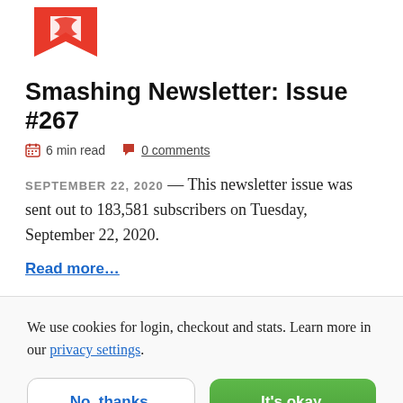[Figure (logo): Smashing Magazine red arrow/bookmark logo (partially visible, cropped at top)]
Smashing Newsletter: Issue #267
6 min read   0 comments
SEPTEMBER 22, 2020 — This newsletter issue was sent out to 183,581 subscribers on Tuesday, September 22, 2020.
Read more…
We use cookies for login, checkout and stats. Learn more in our privacy settings.
No, thanks.   It's okay.